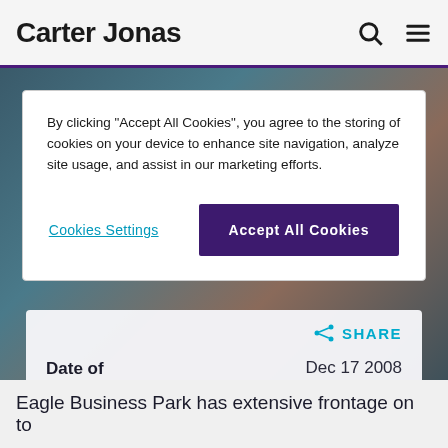Carter Jonas
By clicking "Accept All Cookies", you agree to the storing of cookies on your device to enhance site navigation, analyze site usage, and assist in our marketing efforts.
Cookies Settings | Accept All Cookies
SHARE
Date of Article   Dec 17 2008
Eagle Business Park has extensive frontage on to